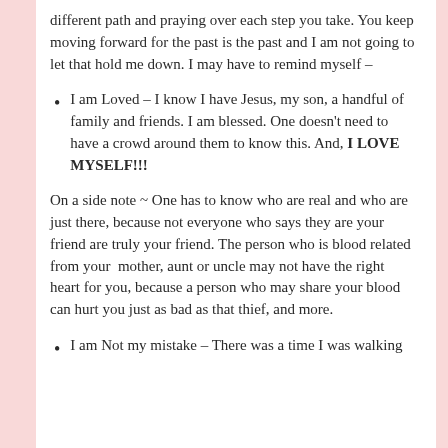different path and praying over each step you take. You keep moving forward for the past is the past and I am not going to let that hold me down. I may have to remind myself –
I am Loved – I know I have Jesus, my son, a handful of family and friends. I am blessed. One doesn't need to have a crowd around them to know this. And, I LOVE MYSELF!!!
On a side note ~ One has to know who are real and who are just there, because not everyone who says they are your friend are truly your friend. The person who is blood related from your mother, aunt or uncle may not have the right heart for you, because a person who may share your blood can hurt you just as bad as that thief, and more.
I am Not my mistake – There was a time I was walking